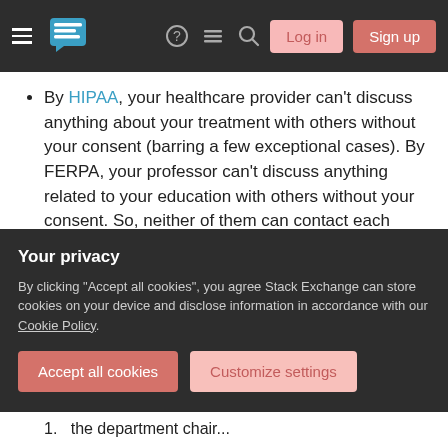Stack Exchange navigation bar with hamburger menu, logo, icons, Log in and Sign up buttons
By HIPAA, your healthcare provider can't discuss anything about your treatment with others without your consent (barring a few exceptional cases). By FERPA, your professor can't discuss anything related to your education with others without your consent. So, neither of them can contact each other about you without your consent; a conversation between them would be even more off limits.
Give him a note signed by a MD and w/ the clinic letterhead. This should be authoritative...
Your privacy
By clicking "Accept all cookies", you agree Stack Exchange can store cookies on your device and disclose information in accordance with our Cookie Policy.
Accept all cookies | Customize settings
the department chair...